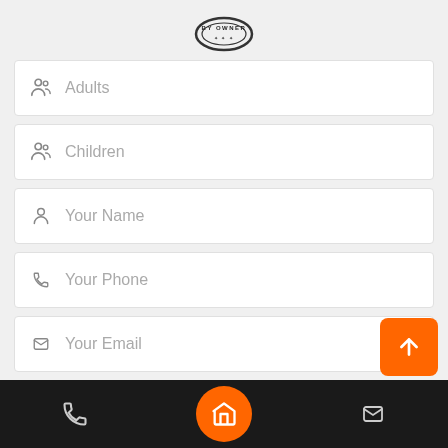[Figure (logo): Round stamp logo with 'BY OWNER' text]
Adults
Children
Your Name
Your Phone
Your Email
I am interested in this property [ID 13865] and I'd like to know more details.
[Figure (other): Bottom navigation bar with phone, home (orange circle), and email icons, plus orange scroll-to-top button]